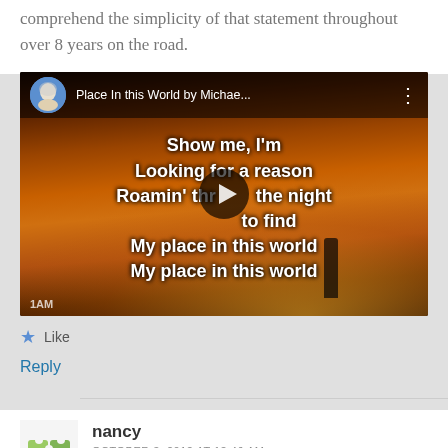comprehend the simplicity of that statement throughout over 8 years on the road.
[Figure (screenshot): Embedded YouTube video thumbnail showing 'Place In this World by Michae...' with lyrics overlay on a sunset beach background. Lyrics visible: Show me, I'm Looking for a reason Roamin' through the night to find My place in this world My place in this world]
Like
Reply
nancy
OCTOBER 3, 2012 AT 12:46 AM